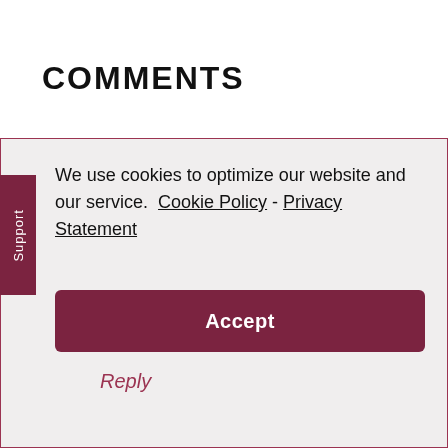COMMENTS
We use cookies to optimize our website and our service.  Cookie Policy - Privacy Statement
Accept
Reply
Support